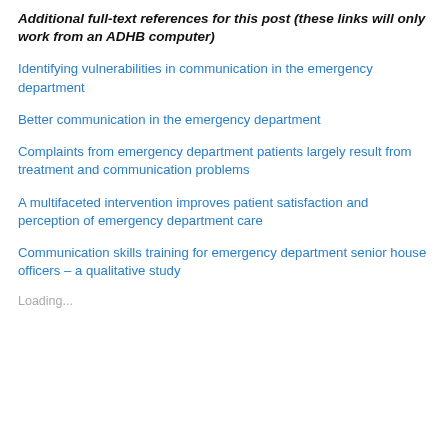Additional full-text references for this post (these links will only work from an ADHB computer)
Identifying vulnerabilities in communication in the emergency department
Better communication in the emergency department
Complaints from emergency department patients largely result from treatment and communication problems
A multifaceted intervention improves patient satisfaction and perception of emergency department care
Communication skills training for emergency department senior house officers – a qualitative study
Loading...